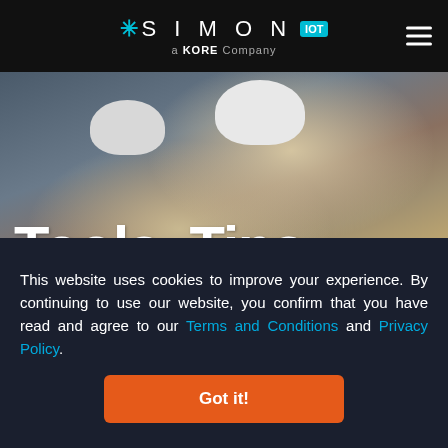SIMON IOT a KORE Company
[Figure (photo): Two construction workers wearing white hard hats and yellow safety vests looking downward, in an industrial setting]
Tools, Tips, and Tricks for
This website uses cookies to improve your experience. By continuing to use our website, you confirm that you have read and agree to our Terms and Conditions and Privacy Policy.
Got it!